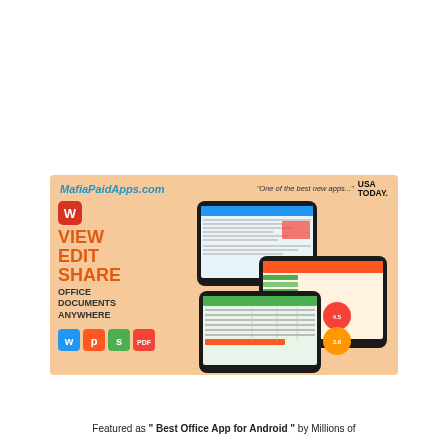[Figure (screenshot): Advertisement banner for WPS Office app on Android. Peach/salmon background. Shows 'MafiaPaidApps.com' in blue italic, 'One of the best new apps...' quote attributed to USA TODAY, WPS logo, VIEW EDIT SHARE text in orange, OFFICE DOCUMENTS ANYWHERE in dark, WPS app icons (W, P, S, PDF), and three tablet screens showing the app in use.]
Featured as " Best Office App for Android " by Millions of